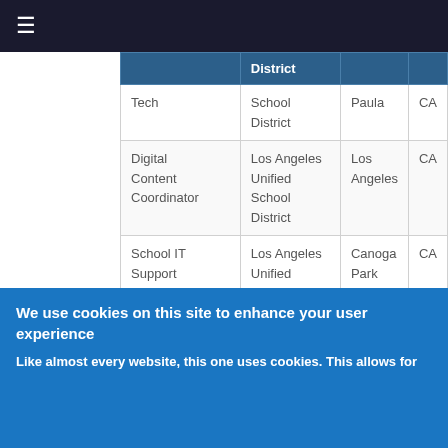≡ (navigation bar)
|  | District |  |  |
| --- | --- | --- | --- |
| Tech | School District | Paula | CA |
| Digital Content Coordinator | Los Angeles Unified School District | Los Angeles | CA |
| School IT Support Coordinator - Hart Street Elementary | Los Angeles Unified School District | Canoga Park | CA |
| Assistant Principal - | Los Angeles |  |  |
We use cookies on this site to enhance your user experience
Like almost every website, this one uses cookies. This allows for